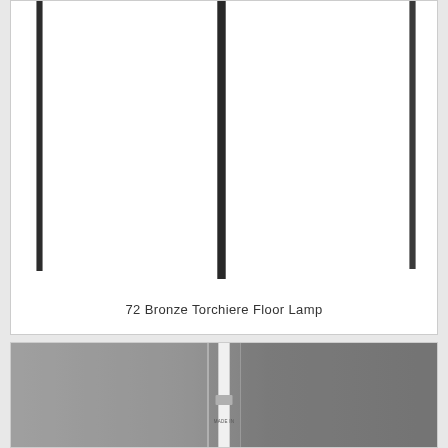[Figure (photo): Product photo of a tall bronze torchiere floor lamp pole shown against white background, with vertical pole running from top to bottom center of image]
72 Bronze Torchiere Floor Lamp
[Figure (photo): Partial product photo of a white torchiere floor lamp pole against a grey/silver background, showing the lower section with a small detail piece]